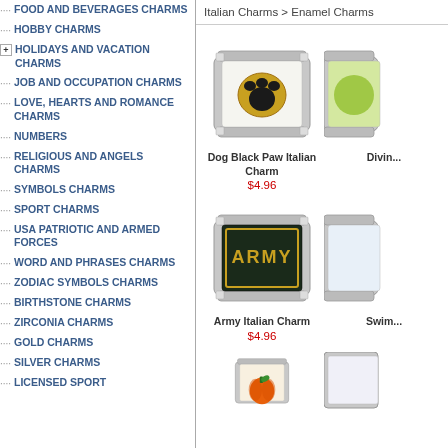FOOD AND BEVERAGES CHARMS
HOBBY CHARMS
HOLIDAYS AND VACATION CHARMS
JOB AND OCCUPATION CHARMS
LOVE, HEARTS AND ROMANCE CHARMS
NUMBERS
RELIGIOUS AND ANGELS CHARMS
SYMBOLS CHARMS
SPORT CHARMS
USA PATRIOTIC AND ARMED FORCES
WORD AND PHRASES CHARMS
ZODIAC SYMBOLS CHARMS
BIRTHSTONE CHARMS
ZIRCONIA CHARMS
GOLD CHARMS
SILVER CHARMS
LICENSED SPORT
Italian Charms > Enamel Charms
[Figure (photo): Dog Black Paw Italian Charm - a stainless steel Italian charm with a black and gold paw print on white enamel background]
Dog Black Paw Italian Charm
$4.96
[Figure (photo): Partially visible charm on right side, cut off]
[Figure (photo): Army Italian Charm - a stainless steel Italian charm with dark green/black background and gold ARMY text]
Army Italian Charm
$4.96
[Figure (photo): Partially visible charm on right side - appears to be swim related, cut off]
[Figure (photo): Pumpkin charm partially visible at bottom - orange pumpkin with green stem on stainless steel charm]
[Figure (photo): Partially visible charm at bottom right, cut off]